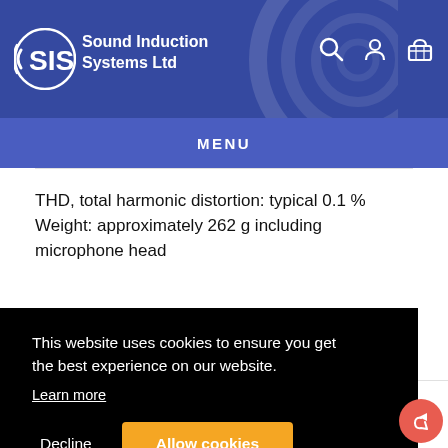Sound Induction Systems Ltd
MENU
THD, total harmonic distortion: typical 0.1 %
Weight: approximately 262 g including microphone head
This website uses cookies to ensure you get the best experience on our website.
Learn more
Decline | Allow cookies